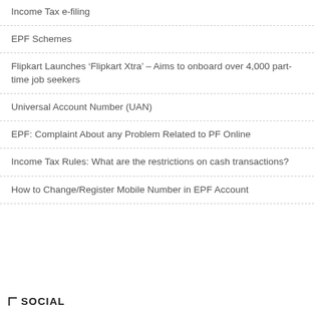Income Tax e-filing
EPF Schemes
Flipkart Launches ‘Flipkart Xtra’ – Aims to onboard over 4,000 part-time job seekers
Universal Account Number (UAN)
EPF: Complaint About any Problem Related to PF Online
Income Tax Rules: What are the restrictions on cash transactions?
How to Change/Register Mobile Number in EPF Account
SOCIAL